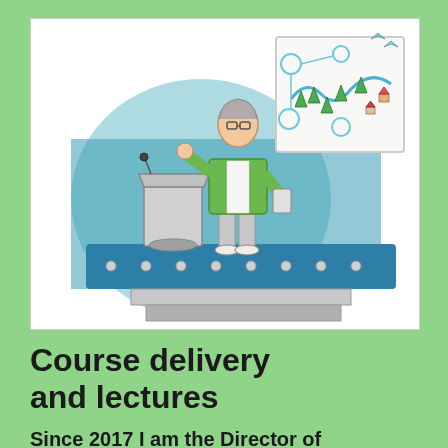[Figure (illustration): Illustration of a person in a green jacket standing at a podium/lectern on a stage, holding a tablet/papers, gesturing with one hand. Behind them is a whiteboard/poster showing a landscape map with trees, a river, circles and arrows. The stage has a blue surface with bolts along the front edge and grey steps.]
Course delivery and lectures
Since 2017 I am the Director of